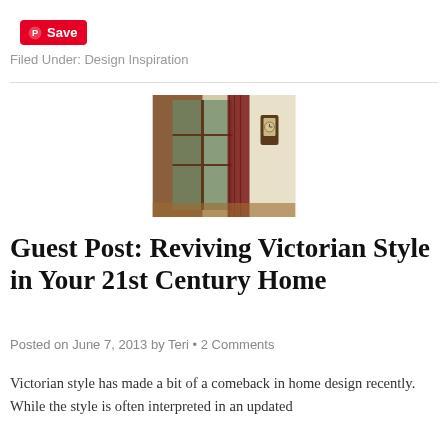[Figure (logo): Pinterest Save button — red rounded rectangle with Pinterest circle-P icon and 'Save' text in white]
Filed Under: Design Inspiration
[Figure (photo): Interior photo of a Victorian-style room showing wooden bay window frames, red patterned curtains, and a wall-mounted antique clock on a cream-colored wall]
Guest Post: Reviving Victorian Style in Your 21st Century Home
Posted on June 7, 2013 by Teri • 2 Comments
Victorian style has made a bit of a comeback in home design recently.  While the style is often interpreted in an updated